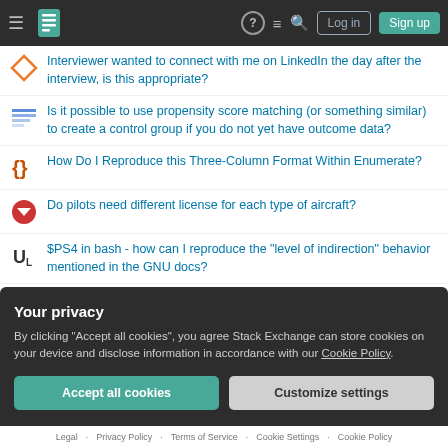Stack Exchange navigation bar with Log in and Sign up buttons
Interviewer wanted to connect with me on LinkedIn the day after the interview, is this appropriate?
Is it possible to use propensity score matching (or something similar) to create a control group if you do not yet have outcome data?
How Do I Reproduce this Three-Column Format Within Enumerate?
Do pilots need different license for each type of aircraft?
$PS4 in bash - how can I reproduce the "level of indirection" behavior mentioned in the GNU docs?
If an event has a statistical probability of only 50%, is it possible to use a neural network to predict it with more than 50% accuracy?
Question feed
Your privacy
By clicking "Accept all cookies", you agree Stack Exchange can store cookies on your device and disclose information in accordance with our Cookie Policy.
Accept all cookies | Customize settings
Legal · Privacy Policy · Terms of Service · Cookie Settings · Cookie Policy